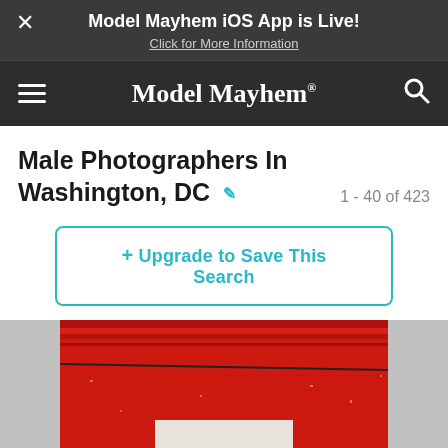Model Mayhem iOS App is Live! Click for More Information
Model Mayhem®
Male Photographers In Washington, DC
1 - 40 of 423
+ Upgrade to Save This Search
[Figure (photo): Close-up of a red-painted brick building facade showing a white-framed window or opening, with red decorative molding and cornice detail above. The paint is weathered and chipped.]